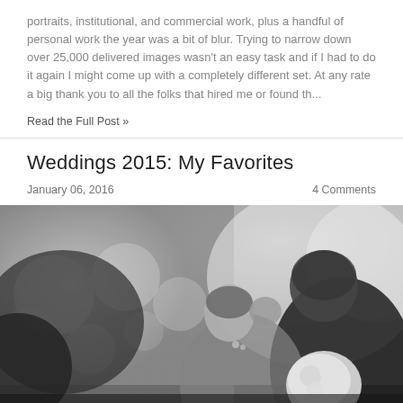portraits, institutional, and commercial work, plus a handful of personal work the year was a bit of blur. Trying to narrow down over 25,000 delivered images wasn't an easy task and if I had to do it again I might come up with a completely different set. At any rate a big thank you to all the folks that hired me or found th...
Read the Full Post »
Weddings 2015: My Favorites
January 06, 2016    4 Comments
[Figure (photo): Black and white photograph of a couple kissing at a wedding. The bride is wearing a white dress with pearl earrings and holding a white bouquet. The groom has short curly hair. Background shows blurred bokeh of trees and bright light.]